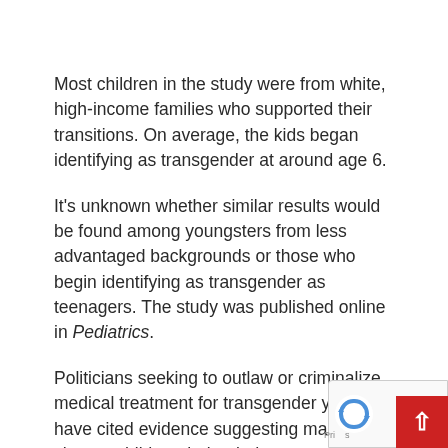Most children in the study were from white, high-income families who supported their transitions. On average, the kids began identifying as transgender at around age 6.
It's unknown whether similar results would be found among youngsters from less advantaged backgrounds or those who begin identifying as transgender as teenagers. The study was published online in Pediatrics.
Politicians seeking to outlaw or criminalize medical treatment for transgender youth have cited evidence suggesting many change children their minds or “retransition.”
[Figure (other): reCAPTCHA logo and scroll-to-top button overlay in bottom-right corner]